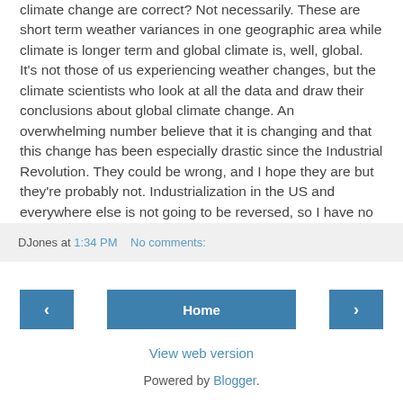climate change are correct?  Not necessarily.  These are short term weather variances in one geographic area while climate is longer term and global climate is, well, global.  It's not those of us experiencing weather changes, but the climate scientists who look at all the data and draw their conclusions about global climate change.  An overwhelming number believe that it is changing and that this change has been especially drastic since the Industrial Revolution.  They could be wrong, and I hope they are but they're probably not.  Industrialization in the US and everywhere else is not going to be reversed, so I have no idea how this trend would be corrected.
DJones at 1:34 PM   No comments:
‹  Home  ›
View web version
Powered by Blogger.